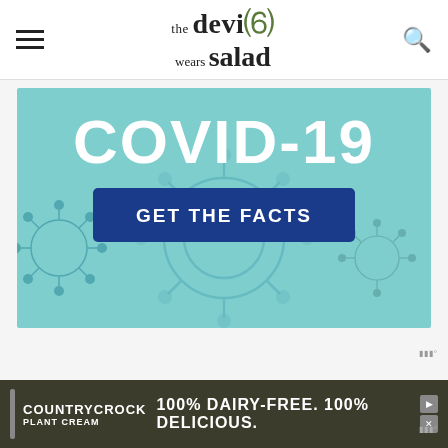the devil wears salad
[Figure (infographic): COVID-19 GET THE FACTS banner with teal background and virus illustrations]
[Figure (infographic): Country Crock Plant Cream advertisement: 100% DAIRY-FREE. 100% DELICIOUS.]